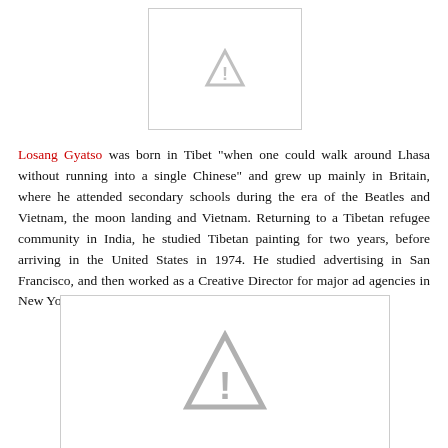[Figure (illustration): Small image placeholder with a gray warning/caution triangle icon, bordered box]
Losang Gyatso was born in Tibet "when one could walk around Lhasa without running into a single Chinese" and grew up mainly in Britain, where he attended secondary schools during the era of the Beatles and Vietnam, the moon landing and Vietnam. Returning to a Tibetan refugee community in India, he studied Tibetan painting for two years, before arriving in the United States in 1974. He studied advertising in San Francisco, and then worked as a Creative Director for major ad agencies in New York City in the 80s and early 90s.
[Figure (illustration): Large image placeholder with a gray warning/caution triangle icon, bordered box]